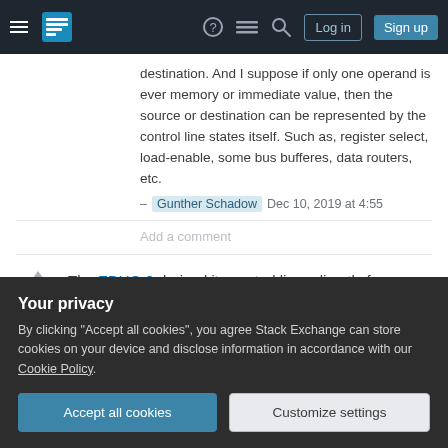Stack Exchange navigation bar with hamburger menu, logo, help, chat, search icons, Log in and Sign up buttons
destination. And I suppose if only one operand is ever memory or immediate value, then the source or destination can be represented by the control line states itself. Such as, register select, load-enable, some bus bufferes, data routers, etc.
– Gunther Schadow  Dec 10, 2019 at 4:55
Add a comment
The EDUC-8 derived its control lines directly from an instruction and did not use any form of microcode ROM. It was a serial processor so a fixed number of timing cycles were required for each
Your privacy
By clicking "Accept all cookies", you agree Stack Exchange can store cookies on your device and disclose information in accordance with our Cookie Policy.
Accept all cookies   Customize settings
The circuits and construction details are available